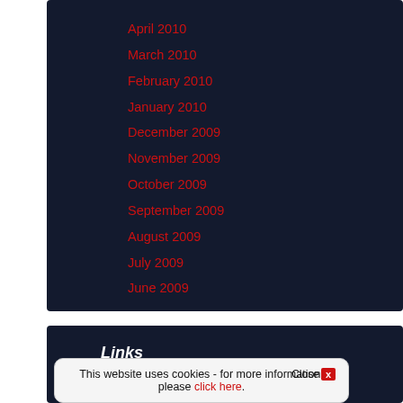April 2010
March 2010
February 2010
January 2010
December 2009
November 2009
October 2009
September 2009
August 2009
July 2009
June 2009
Links
This website uses cookies - for more information, please click here.